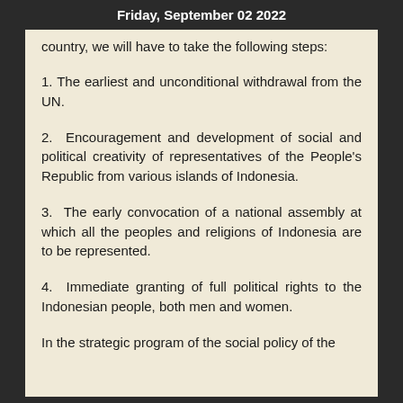Friday, September 02 2022
country, we will have to take the following steps:
1. The earliest and unconditional withdrawal from the UN.
2. Encouragement and development of social and political creativity of representatives of the People's Republic from various islands of Indonesia.
3. The early convocation of a national assembly at which all the peoples and religions of Indonesia are to be represented.
4. Immediate granting of full political rights to the Indonesian people, both men and women.
In the strategic program of the social policy of the